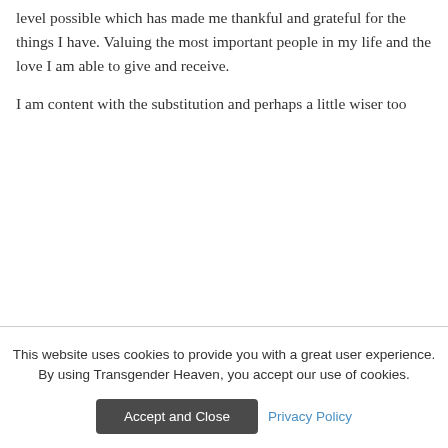level possible which has made me thankful and grateful for the things I have. Valuing the most important people in my life and the love I am able to give and receive.
I am content with the substitution and perhaps a little wiser too
This website uses cookies to provide you with a great user experience. By using Transgender Heaven, you accept our use of cookies.